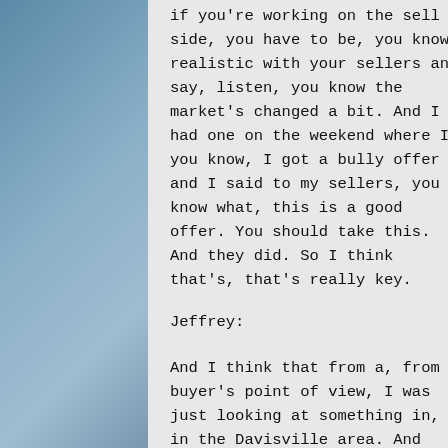if you're working on the sell side, you have to be, you know, realistic with your sellers and say, listen, you know the market's changed a bit. And I had one on the weekend where I, you know, I got a bully offer and I said to my sellers, you know what, this is a good offer. You should take this. And they did. So I think that's, that's really key.
Jeffrey:
And I think that from a, from a buyer's point of view, I was just looking at something in, in the Davisville area. And